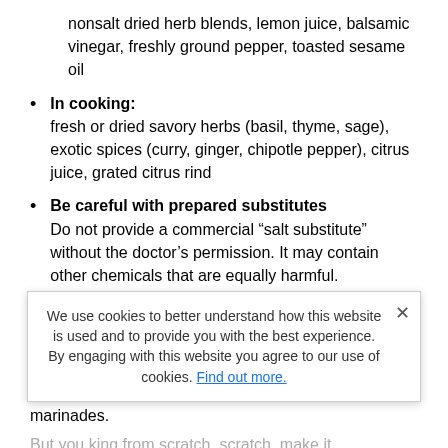nonsalt dried herb blends, lemon juice, balsamic vinegar, freshly ground pepper, toasted sesame oil
In cooking: fresh or dried savory herbs (basil, thyme, sage), exotic spices (curry, ginger, chipotle pepper), citrus juice, grated citrus rind
Be careful with prepared substitutes Do not provide a commercial “salt substitute” without the doctor’s permission. It may contain other chemicals that are equally harmful.
Eliminate commercially prepared foods.
An entire day’s “salt budget” can be blown in a single serving of prepared dinners, luncheon meats, quick breads/cereals, and common condiments and marinades.
But you can make it from scratch. Creating toppings
Creating toppings